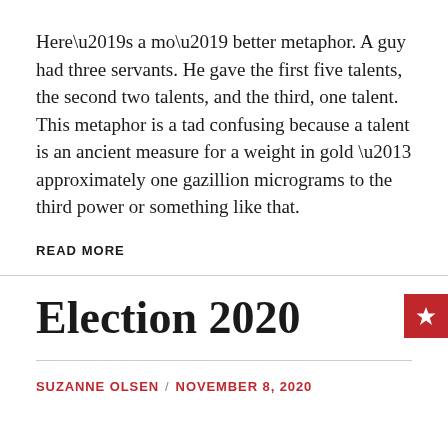Here’s a mo’ better metaphor. A guy had three servants. He gave the first five talents, the second two talents, and the third, one talent. This metaphor is a tad confusing because a talent is an ancient measure for a weight in gold – approximately one gazillion micrograms to the third power or something like that.
READ MORE
Election 2020
SUZANNE OLSEN / NOVEMBER 8, 2020